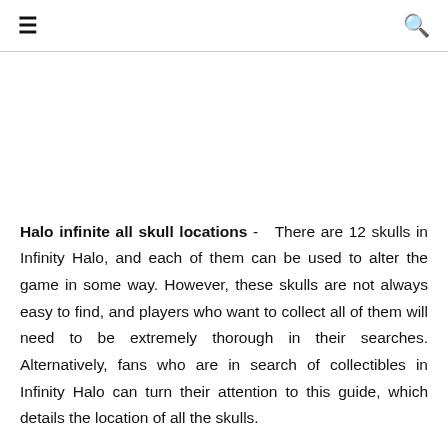≡  🔍
Halo infinite all skull locations - There are 12 skulls in Infinity Halo, and each of them can be used to alter the game in some way. However, these skulls are not always easy to find, and players who want to collect all of them will need to be extremely thorough in their searches. Alternatively, fans who are in search of collectibles in Infinity Halo can turn their attention to this guide, which details the location of all the skulls.